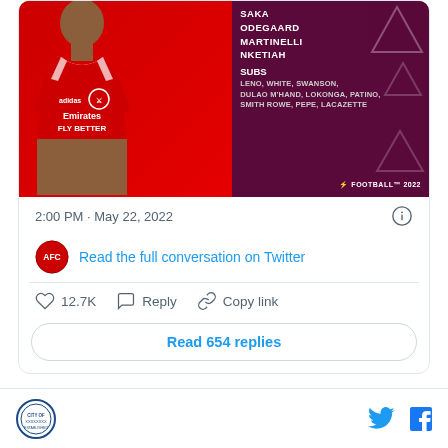[Figure (screenshot): Arsenal FC lineup image showing a player in red Arsenal Emirates FLY BETTER kit with player names on right panel: SAKA, ODEGAARD, MARTINELLI, NKETIAH and SUBS: LENO, WHITE, SWANSON, DULAO M'HAND, LOKONGA, PATINO, SMITH ROWE, PEPE, LACAZETTE. eFootball 2022 branding.]
2:00 PM · May 22, 2022
Read the full conversation on Twitter
12.7K
Reply
Copy link
Read 654 replies